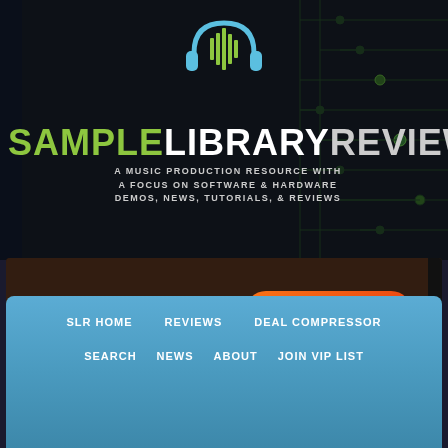[Figure (logo): Headphones with audio waveform icon in blue and green]
SAMPLELIBRARYREVIEW
A MUSIC PRODUCTION RESOURCE WITH A FOCUS ON SOFTWARE & HARDWARE DEMOS, NEWS, TUTORIALS, & REVIEWS
[Figure (other): The Lutheal REALSAMPLES advertisement banner with BUY NOW €29 button]
[Figure (other): Social media icons for Twitter, Facebook, YouTube, Google+]
SLR HOME   REVIEWS   DEAL COMPRESSOR
SEARCH   NEWS   ABOUT   JOIN VIP LIST